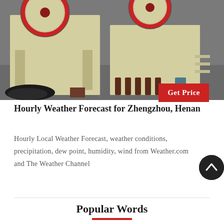[Figure (photo): Industrial jaw crusher machines (beige/cream colored) on a factory floor, with large red flywheels visible at the top and black hoses/cables on the floor]
Get Price
Hourly Weather Forecast for Zhengzhou, Henan
Hourly Local Weather Forecast, weather conditions, precipitation, dew point, humidity, wind from Weather.com and The Weather Channel
Popular Words